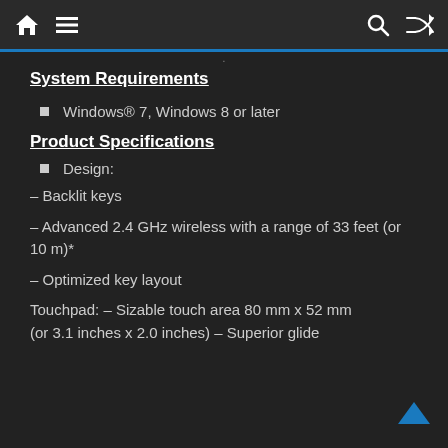Navigation bar with home, menu, search, and shuffle icons
System Requirements
Windows® 7, Windows 8 or later
Product Specifications
Design:
– Backlit keys
– Advanced 2.4 GHz wireless with a range of 33 feet (or 10 m)*
– Optimized key layout
Touchpad: – Sizable touch area 80 mm x 52 mm (or 3.1 inches x 2.0 inches) – Superior glide